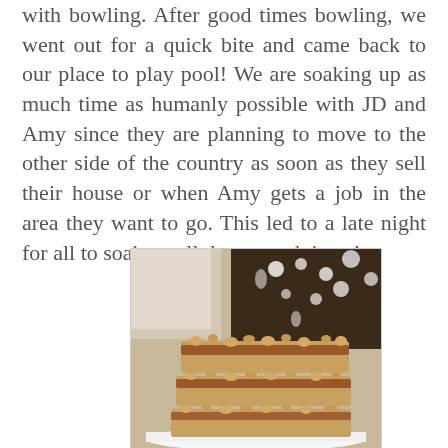with bowling. After good times bowling, we went out for a quick bite and came back to our place to play pool! We are soaking up as much time as humanly possible with JD and Amy since they are planning to move to the other side of the country as soon as they sell their house or when Amy gets a job in the area they want to go. This led to a late night for all to soak up all those good times!
[Figure (photo): A stack of crumb bar desserts (coffee cake or streusel bars) piled on a white plate, with a dark decorative object in the background]